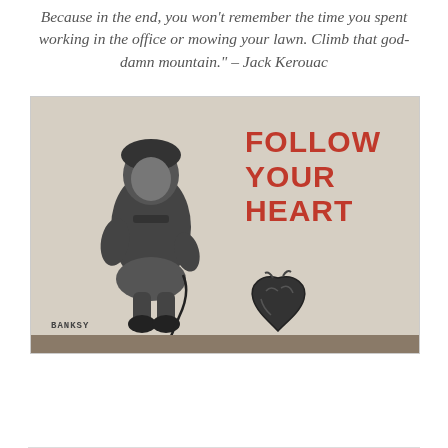Because in the end, you won't remember the time you spent working in the office or mowing your lawn. Climb that god-damn mountain." – Jack Kerouac
[Figure (illustration): Banksy-style street art showing a young girl in a coat leading a human heart on a leash, with 'FOLLOW YOUR HEART' written in bold red letters on the wall beside her. The image is in black and white stencil style with red text. A 'Banksy' signature appears in the lower left.]